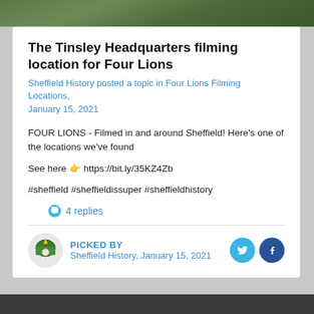[Figure (photo): Dark green foliage banner image at the top of the page]
The Tinsley Headquarters filming location for Four Lions
Sheffield History posted a topic in Four Lions Filming Locations, January 15, 2021
FOUR LIONS - Filmed in and around Sheffield! Here's one of the locations we've found
See here 👉 https://bit.ly/35KZ4Zb
#sheffield #sheffieldissuper #sheffieldhistory
💬 4 replies
PICKED BY
Sheffield History, January 15, 2021